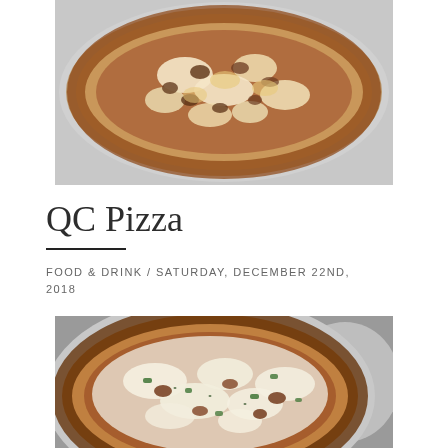[Figure (photo): Close-up photo of a pizza on a silver pan, viewed from above, showing melted cheese and toppings, top portion cropped]
QC Pizza
FOOD & DRINK / SATURDAY, DECEMBER 22ND, 2018
[Figure (photo): Photo of a pizza on a silver pan with melted white cheese, green pepper pieces and assorted toppings, slightly angled view]